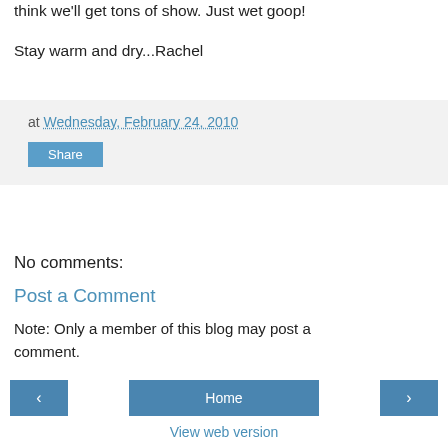think we'll get tons of show. Just wet goop!
Stay warm and dry...Rachel
at Wednesday, February 24, 2010
No comments:
Post a Comment
Note: Only a member of this blog may post a comment.
Home | View web version | Powered by Blogger.